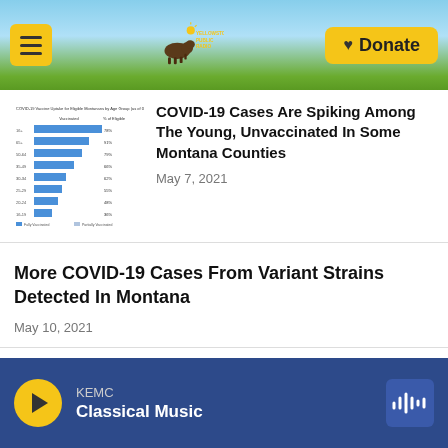Yellowstone Public Radio — navigation header with menu button, logo, and Donate button
[Figure (bar-chart): COVID-19 Vaccine Uptake for Eligible Montanans by Age Group bar chart thumbnail]
COVID-19 Cases Are Spiking Among The Young, Unvaccinated In Some Montana Counties
May 7, 2021
More COVID-19 Cases From Variant Strains Detected In Montana
May 10, 2021
KEMC Classical Music — audio player with play button and waveform icon